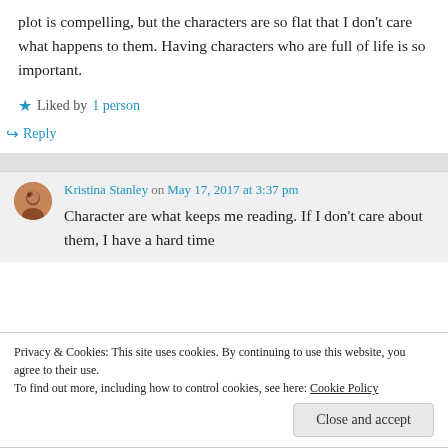plot is compelling, but the characters are so flat that I don't care what happens to them. Having characters who are full of life is so important.
Liked by 1 person
↪ Reply
Kristina Stanley on May 17, 2017 at 3:37 pm
Character are what keeps me reading. If I don't care about them, I have a hard time
Privacy & Cookies: This site uses cookies. By continuing to use this website, you agree to their use. To find out more, including how to control cookies, see here: Cookie Policy